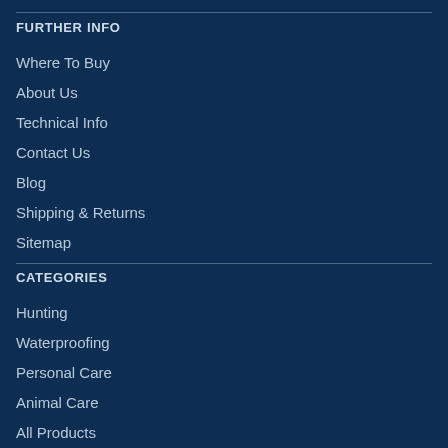FURTHER INFO
Where To Buy
About Us
Technical Info
Contact Us
Blog
Shipping & Returns
Sitemap
CATEGORIES
Hunting
Waterproofing
Personal Care
Animal Care
All Products